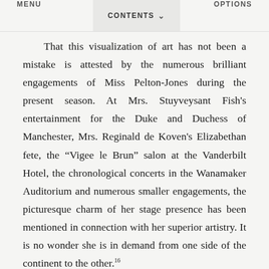MENU   CONTENTS   OPTIONS
That this visualization of art has not been a mistake is attested by the numerous brilliant engagements of Miss Pelton-Jones during the present season. At Mrs. Stuyveysant Fish's entertainment for the Duke and Duchess of Manchester, Mrs. Reginald de Koven's Elizabethan fete, the “Vigee le Brun” salon at the Vanderbilt Hotel, the chronological concerts in the Wanamaker Auditorium and numerous smaller engagements, the picturesque charm of her stage presence has been mentioned in connection with her superior artistry. It is no wonder she is in demand from one side of the continent to the other.16
The “club lady” image of this durable harpsichordist